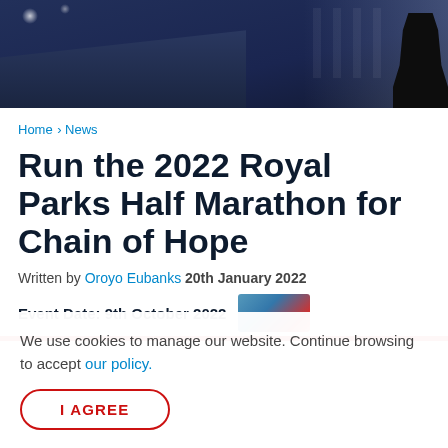[Figure (photo): Dark blue event venue photo with stage lighting and a person silhouette at right, with banner/backdrop visible]
Home › News
Run the 2022 Royal Parks Half Marathon for Chain of Hope
Written by Oroyo Eubanks 20th January 2022
Event Date: 9th October 2022
We use cookies to manage our website. Continue browsing to accept our policy.
I AGREE